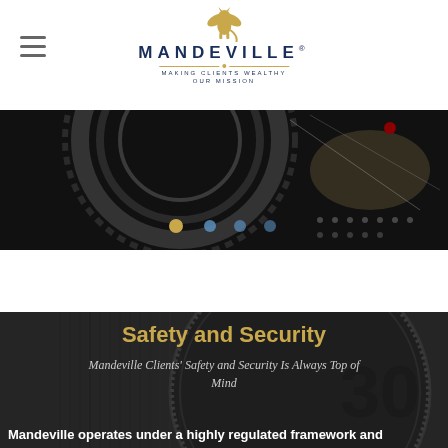MANDEVILLE® — MAKING CLIENTS WEALTHY OUR MISSION
[Figure (illustration): Dark circular gear/dial banner image with colored navigation dots at bottom (gold, blue, blue, blue) and additional smaller dark dots]
[Figure (photo): Close-up photograph of a dark combination lock dial with embossed number 30 visible, textured surface]
Safety and Security
Mandeville Clients' Safety and Security Is Always Top of Mind
Mandeville operates under a highly regulated framework and